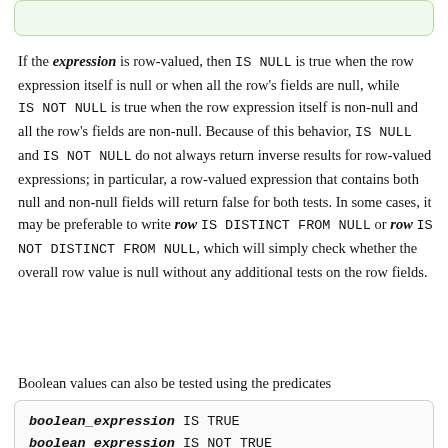[Figure (other): Green rounded rectangle box at top of page (decorative/continuation indicator)]
If the expression is row-valued, then IS NULL is true when the row expression itself is null or when all the row's fields are null, while IS NOT NULL is true when the row expression itself is non-null and all the row's fields are non-null. Because of this behavior, IS NULL and IS NOT NULL do not always return inverse results for row-valued expressions; in particular, a row-valued expression that contains both null and non-null fields will return false for both tests. In some cases, it may be preferable to write row IS DISTINCT FROM NULL or row IS NOT DISTINCT FROM NULL, which will simply check whether the overall row value is null without any additional tests on the row fields.
Boolean values can also be tested using the predicates
boolean_expression IS TRUE
boolean_expression IS NOT TRUE
boolean_expression IS FALSE